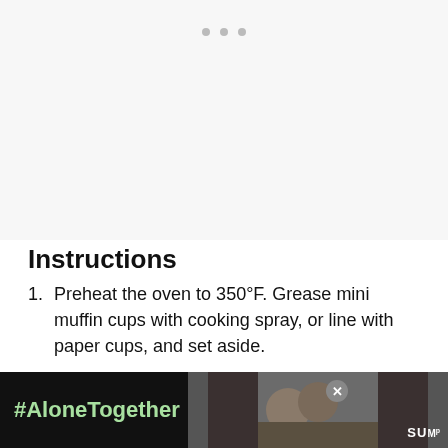[Figure (other): Three grey dots (carousel/pagination indicator) on a light grey background, representing an image placeholder area.]
Instructions
Preheat the oven to 350°F. Grease mini muffin cups with cooking spray, or line with paper cups, and set aside.
Put the pistachios and flour in the bowl of a food processor and pulse until the mixture resembles coarse crumbs. Transfer to a...
[Figure (infographic): Advertisement banner at bottom: dark background with green '#AloneTogether' text on the left, a photo of people in the center, and a logo/close button on the right.]